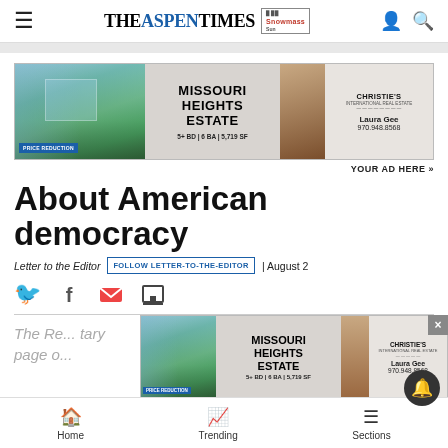THE ASPEN TIMES | Snowmass Sun
[Figure (photo): Missouri Heights Estate real estate advertisement banner with property photo, Christie's International Real Estate branding, and agent Laura Gee contact info 970.948.8568]
YOUR AD HERE »
About American democracy
Letter to the Editor  FOLLOW LETTER-TO-THE-EDITOR  | August 2
[Figure (infographic): Social sharing icons: Twitter (blue bird), Facebook (f), Email (envelope), Print (printer)]
The Re... tary
Page o...
[Figure (photo): Second Missouri Heights Estate advertisement banner overlay]
Home  Trending  Sections